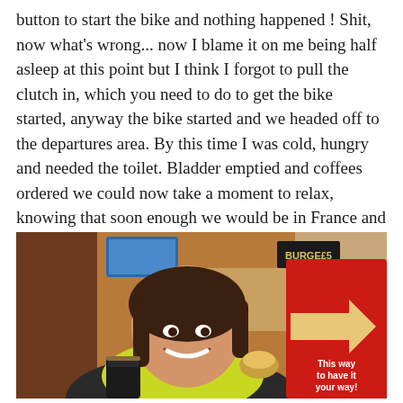button to start the bike and nothing happened ! Shit, now what's wrong... now I blame it on me being half asleep at this point but I think I forgot to pull the clutch in, which you need to do to get the bike started, anyway the bike started and we headed off to the departures area. By this time I was cold, hungry and needed the toilet. Bladder emptied and coffees ordered we could now take a moment to relax, knowing that soon enough we would be in France and the tour would be well and truly under way !
[Figure (photo): A woman wearing a high-visibility yellow vest and black motorcycle jacket sits in what appears to be a Burger King restaurant. She is smiling and holding a coffee cup and a piece of food. Behind her is a red Burger King banner with an arrow and the text 'This way to have it your way!'. The restaurant interior is visible in the background.]